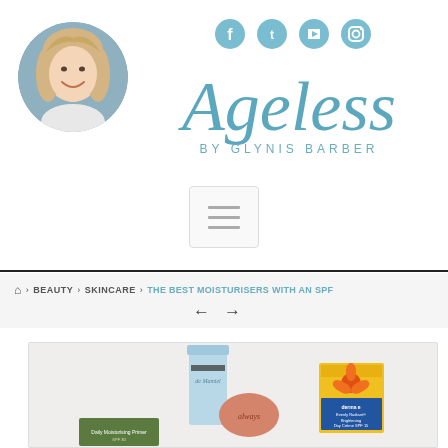[Figure (photo): Circular profile photo of a smiling blonde woman (Glynis Barber) on a grey background]
[Figure (logo): Social media icons: Facebook, Twitter, YouTube, Instagram in light blue]
[Figure (logo): Ageless by Glynis Barber logo in teal/blue script and uppercase lettering]
[Figure (other): Hamburger menu button with three horizontal lines]
HOME > BEAUTY > SKINCARE > THE BEST MOISTURISERS WITH AN SPF
[Figure (photo): Product photo showing skincare products including de Mamiel, 'always' soap stone, derma e Evenly Radiant Brightening Day Creme SPF 15, and other products on a white background]